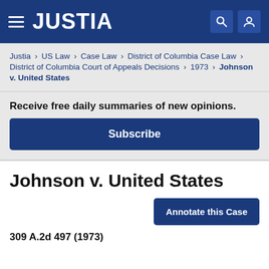JUSTIA
Justia › US Law › Case Law › District of Columbia Case Law › District of Columbia Court of Appeals Decisions › 1973 › Johnson v. United States
Receive free daily summaries of new opinions.
Subscribe
Johnson v. United States
Annotate this Case
309 A.2d 497 (1973)